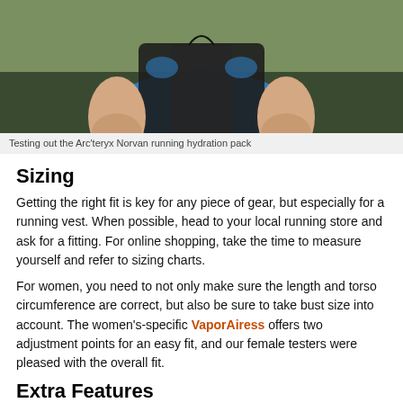[Figure (photo): Photo of a person wearing a blue shirt and black running hydration vest, cropped at chest level, with green outdoor background]
Testing out the Arc'teryx Norvan running hydration pack
Sizing
Getting the right fit is key for any piece of gear, but especially for a running vest. When possible, head to your local running store and ask for a fitting. For online shopping, take the time to measure yourself and refer to sizing charts.
For women, you need to not only make sure the length and torso circumference are correct, but also be sure to take bust size into account. The women's-specific VaporAiress offers two adjustment points for an easy fit, and our female testers were pleased with the overall fit.
Extra Features
Extra features can make the difference between an OK vest and an awesome one. Depending on your running plans, look for extra pockets, reflective materials, and easy-to-use trekking pole loops.